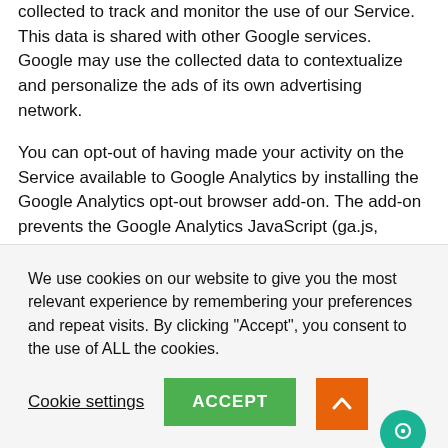collected to track and monitor the use of our Service. This data is shared with other Google services. Google may use the collected data to contextualize and personalize the ads of its own advertising network.
You can opt-out of having made your activity on the Service available to Google Analytics by installing the Google Analytics opt-out browser add-on. The add-on prevents the Google Analytics JavaScript (ga.js, analytics.js, and dc.js) from sharing information with Google Analytics about visits activity.
For more information on the privacy practices of Google, please visit the Google Privacy & Terms web
We use cookies on our website to give you the most relevant experience by remembering your preferences and repeat visits. By clicking "Accept", you consent to the use of ALL the cookies.
Cookie settings
ACCEPT